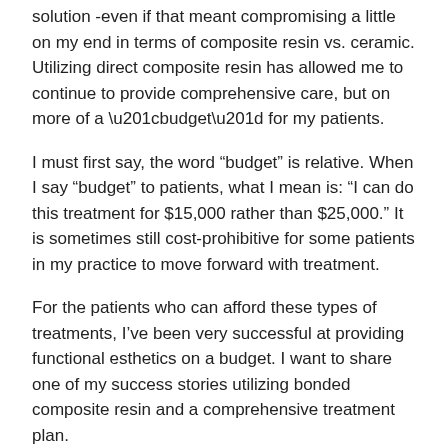solution -even if that meant compromising a little on my end in terms of composite resin vs. ceramic. Utilizing direct composite resin has allowed me to continue to provide comprehensive care, but on more of a “budget” for my patients.
I must first say, the word “budget” is relative. When I say “budget” to patients, what I mean is: “I can do this treatment for $15,000 rather than $25,000.” It is sometimes still cost-prohibitive for some patients in my practice to move forward with treatment.
For the patients who can afford these types of treatments, I’ve been very successful at providing functional esthetics on a budget. I want to share one of my success stories utilizing bonded composite resin and a comprehensive treatment plan.
Case study: EFSB on a budget
Mrs. Betty came to my office with a failing maxillary implant-supported, fixed complete denture. This restoration